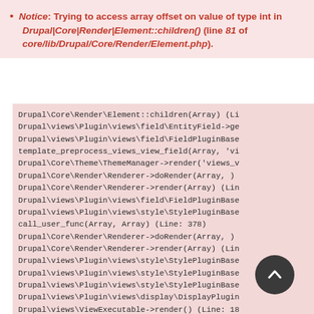Notice: Trying to access array offset on value of type int in Drupal|Core|Render|Element::children() (line 81 of core/lib/Drupal/Core/Render/Element.php).
[Figure (screenshot): Code stack trace block showing Drupal PHP call stack lines in monospace font on a light pink background]